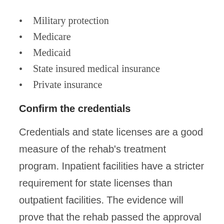Military protection
Medicare
Medicaid
State insured medical insurance
Private insurance
Confirm the credentials
Credentials and state licenses are a good measure of the rehab's treatment program. Inpatient facilities have a stricter requirement for state licenses than outpatient facilities. The evidence will prove that the rehab passed the approval process by providing information on several factors. Some of them include the